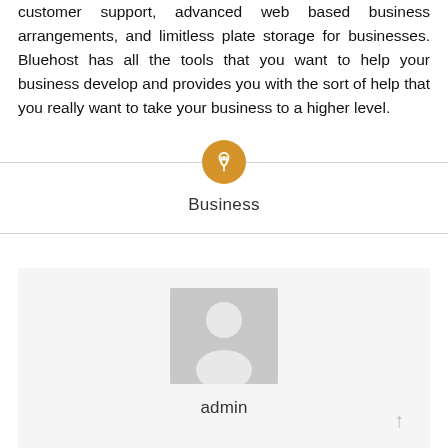customer support, advanced web based business arrangements, and limitless plate storage for businesses. Bluehost has all the tools that you want to help your business develop and provides you with the sort of help that you really want to take your business to a higher level.
Business
[Figure (illustration): Author avatar placeholder image — grey silhouette of a person on a light grey background]
admin